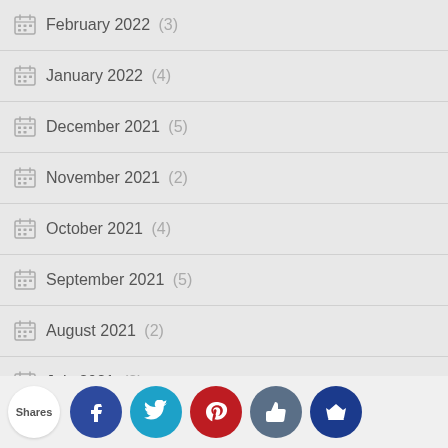February 2022 (3)
January 2022 (4)
December 2021 (5)
November 2021 (2)
October 2021 (4)
September 2021 (5)
August 2021 (2)
July 2021 (2)
June 2021 (4)
May 2021
[Figure (infographic): Social share bar with Shares label and buttons: Facebook, Twitter, Pinterest, Like, Crown]